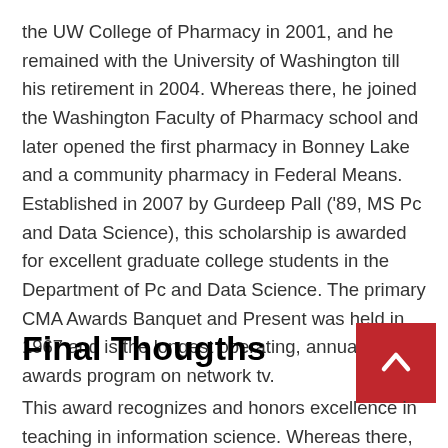the UW College of Pharmacy in 2001, and he remained with the University of Washington till his retirement in 2004. Whereas there, he joined the Washington Faculty of Pharmacy school and later opened the first pharmacy in Bonney Lake and a community pharmacy in Federal Means. Established in 2007 by Gurdeep Pall ('89, MS Pc and Data Science), this scholarship is awarded for excellent graduate college students in the Department of Pc and Data Science. The primary CMA Awards Banquet and Present was held in 1967 and is the longest operating, annual music awards program on network tv.
Final Thougths
[Figure (other): Red square button with a white upward-pointing chevron/arrow icon]
This award recognizes and honors excellence in teaching in information science. Whereas there, he